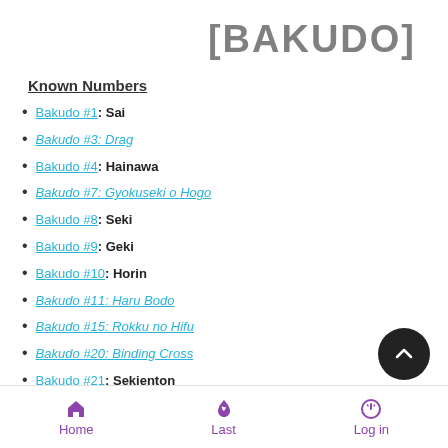[BAKUDO]
Known Numbers
Bakudo #1: Sai
Bakudo #3: Drag
Bakudo #4: Hainawa
Bakudo #7: Gyokuseki o Hogo
Bakudo #8: Seki
Bakudo #9: Geki
Bakudo #10: Horin
Bakudo #11: Haru Bodo
Bakudo #15: Rokku no Hifu
Bakudo #20: Binding Cross
Bakudo #21: Sekienton
Bakudo #25: Keisha Enerugishirudo
Bakudo #26: Kyokko
Home   Last   Log in